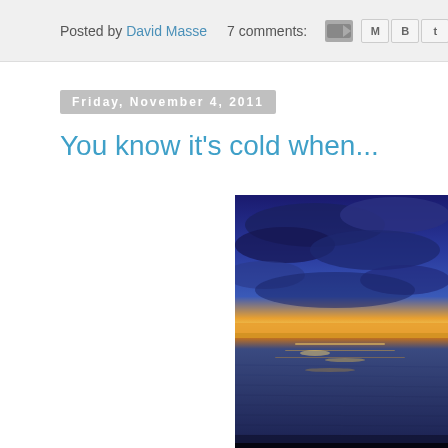Posted by David Masse   7 comments:
Friday, November 4, 2011
You know it's cold when...
[Figure (photo): A cold winter sunset over a body of water, with deep blue clouds in the sky and warm orange/yellow light reflecting on the rippled water surface.]